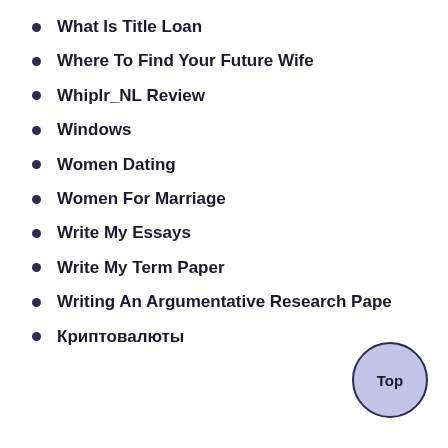What Is Title Loan
Where To Find Your Future Wife
Whiplr_NL Review
Windows
Women Dating
Women For Marriage
Write My Essays
Write My Term Paper
Writing An Argumentative Research Pape
Криптовалюты